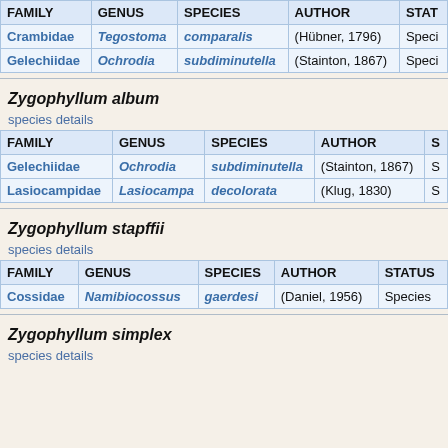| FAMILY | GENUS | SPECIES | AUTHOR | STATUS |
| --- | --- | --- | --- | --- |
| Crambidae | Tegostoma | comparalis | (Hübner, 1796) | Speci… |
| Gelechiidae | Ochrodia | subdiminutella | (Stainton, 1867) | Speci… |
Zygophyllum album
species details
| FAMILY | GENUS | SPECIES | AUTHOR | S |
| --- | --- | --- | --- | --- |
| Gelechiidae | Ochrodia | subdiminutella | (Stainton, 1867) | S |
| Lasiocampidae | Lasiocampa | decolorata | (Klug, 1830) | S |
Zygophyllum stapffii
species details
| FAMILY | GENUS | SPECIES | AUTHOR | STATUS |
| --- | --- | --- | --- | --- |
| Cossidae | Namibiocossus | gaerdesi | (Daniel, 1956) | Species |
Zygophyllum simplex
species details